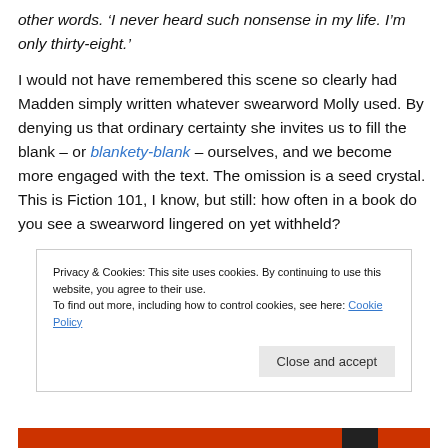other words. 'I never heard such nonsense in my life. I'm only thirty-eight.'
I would not have remembered this scene so clearly had Madden simply written whatever swearword Molly used. By denying us that ordinary certainty she invites us to fill the blank – or blankety-blank – ourselves, and we become more engaged with the text. The omission is a seed crystal. This is Fiction 101, I know, but still: how often in a book do you see a swearword lingered on yet withheld?
Privacy & Cookies: This site uses cookies. By continuing to use this website, you agree to their use. To find out more, including how to control cookies, see here: Cookie Policy